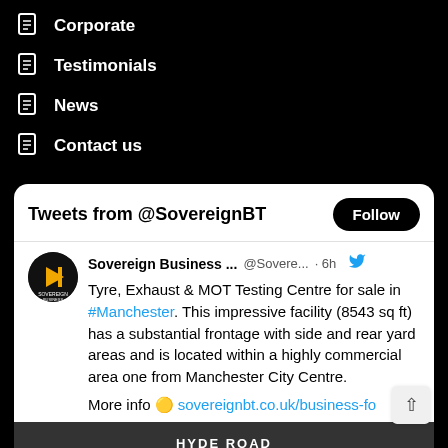Corporate
Testimonials
News
Contact us
Tweets from @SovereignBT
Sovereign Business ...  @Sovere... · 6h
Tyre, Exhaust & MOT Testing Centre for sale in #Manchester. This impressive facility (8543 sq ft) has a substantial frontage with side and rear yard areas and is located within a highly commercial area one from Manchester City Centre.

More info 👉 sovereignbt.co.uk/business-fo